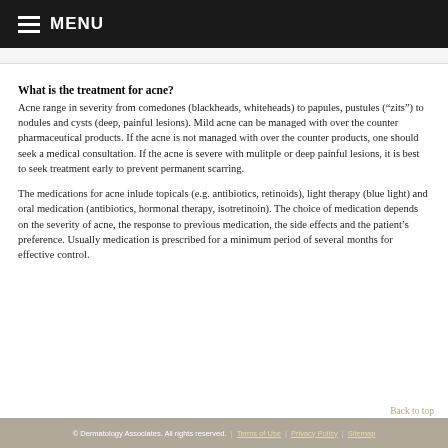MENU
What is the treatment for acne?
Acne range in severity from comedones (blackheads, whiteheads) to papules, pustules (“zits”) to nodules and cysts (deep, painful lesions). Mild acne can be managed with over the counter pharmaceutical products. If the acne is not managed with over the counter products, one should seek a medical consultation. If the acne is severe with mulitple or deep painful lesions, it is best to seek treatment early to prevent permanent scarring.
The medications for acne inlude topicals (e.g. antibiotics, retinoids), light therapy (blue light) and oral medication (antibiotics, hormonal therapy, isotretinoin). The choice of medication depends on the severity of acne, the response to previous medication, the side effects and the patient’s preference. Usually medication is prescribed for a minimum period of several months for effective control.
© Dermatology Associates. All rights reserved. | Terms of Use | Privacy Policy | Sitemap